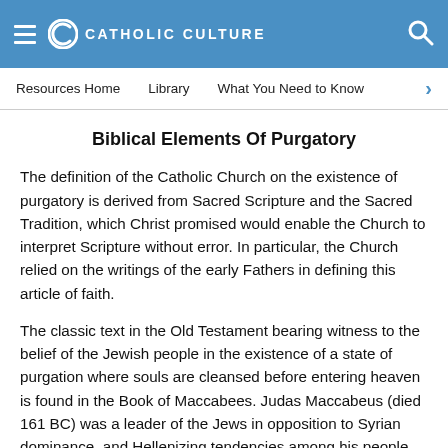CATHOLIC CULTURE
Biblical Elements Of Purgatory
The definition of the Catholic Church on the existence of purgatory is derived from Sacred Scripture and the Sacred Tradition, which Christ promised would enable the Church to interpret Scripture without error. In particular, the Church relied on the writings of the early Fathers in defining this article of faith.
The classic text in the Old Testament bearing witness to the belief of the Jewish people in the existence of a state of purgation where souls are cleansed before entering heaven is found in the Book of Maccabees. Judas Maccabeus (died 161 BC) was a leader of the Jews in opposition to Syrian dominance, and Hellenizing tendencies among his people. He resisted